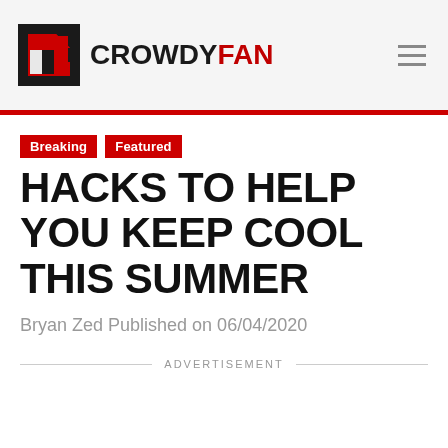CROWDYFAN
Breaking
Featured
HACKS TO HELP YOU KEEP COOL THIS SUMMER
Bryan Zed Published on 06/04/2020
ADVERTISEMENT